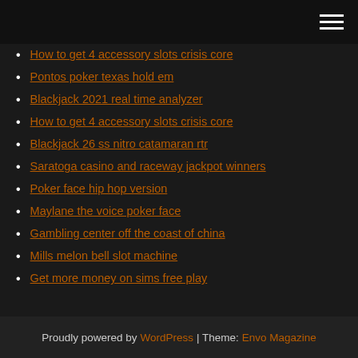[hamburger menu icon]
How to get 4 accessory slots crisis core
Pontos poker texas hold em
Blackjack 2021 real time analyzer
How to get 4 accessory slots crisis core
Blackjack 26 ss nitro catamaran rtr
Saratoga casino and raceway jackpot winners
Poker face hip hop version
Maylane the voice poker face
Gambling center off the coast of china
Mills melon bell slot machine
Get more money on sims free play
Proudly powered by WordPress | Theme: Envo Magazine